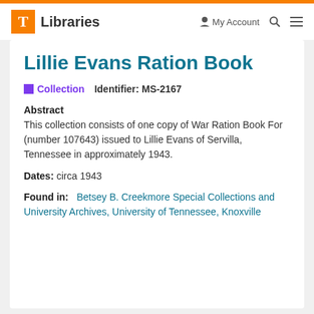T Libraries  My Account
Lillie Evans Ration Book
Collection  Identifier: MS-2167
Abstract
This collection consists of one copy of War Ration Book For (number 107643) issued to Lillie Evans of Servilla, Tennessee in approximately 1943.
Dates: circa 1943
Found in: Betsey B. Creekmore Special Collections and University Archives, University of Tennessee, Knoxville